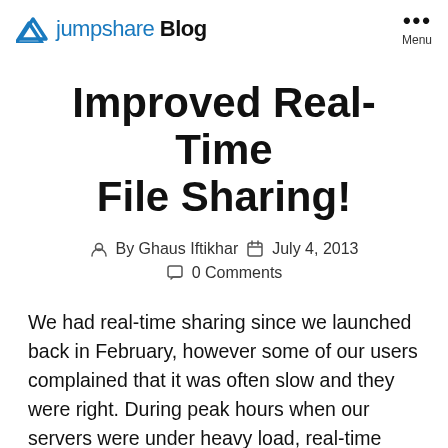Jumpshare Blog
Improved Real-Time File Sharing!
By Ghaus Iftikhar   July 4, 2013
0 Comments
We had real-time sharing since we launched back in February, however some of our users complained that it was often slow and they were right. During peak hours when our servers were under heavy load, real-time sharing was lagging behind anywhere from 5 to 10 seconds. Today